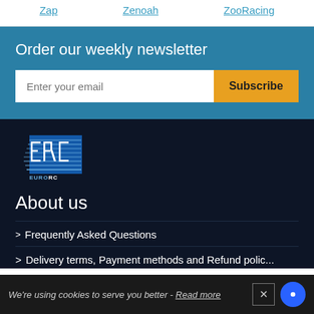Zap  Zenoah  ZooRacing
Order our weekly newsletter
Enter your email  Subscribe
[Figure (logo): EuroRC logo - stylized ERC letters with blue design on dark background]
About us
Frequently Asked Questions
Delivery terms, Payment methods and Refund policy (partial)
We're using cookies to serve you better - Read more